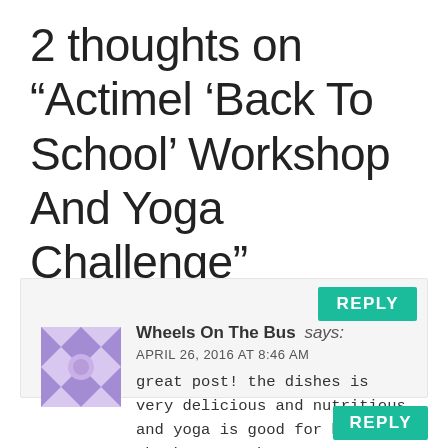2 thoughts on “Actimel ‘Back To School’ Workshop And Yoga Challenge”
Wheels On The Bus says:
APRIL 26, 2016 AT 8:46 AM
great post! the dishes is very delicious and nutritious and yoga is good for health. thanks so much!